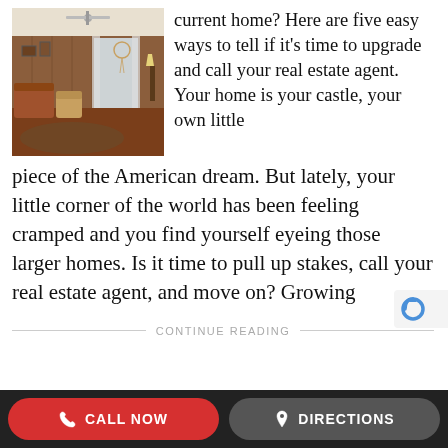[Figure (photo): Interior photo of a cluttered older living room with wood-paneled walls, a ceiling fan, and carpeted floor with furniture.]
current home? Here are five easy ways to tell if it's time to upgrade and call your real estate agent. Your home is your castle, your own little piece of the American dream. But lately, your little corner of the world has been feeling cramped and you find yourself eyeing those larger homes. Is it time to pull up stakes, call your real estate agent, and move on? Growing
CONTINUE READING
CALL NOW   DIRECTIONS